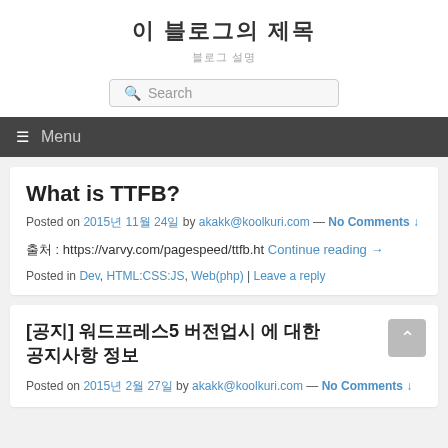이 블로그의 제목 (Korean blog site title)
블로그 설명 (Korean blog description)
≡ Menu
What is TTFB?
Posted on 2015년 11월 24일 by akakk@koolkuri.com — No Comments ↓
출처 : https://varvy.com/pagespeed/ttfb.ht Continue reading →
Posted in Dev, HTML:CSS:JS, Web(php) | Leave a reply
[공지] 워드프레스5 버전업시 에 대한 공지사항
Posted on 2015년 2월 27일 by akakk@koolkuri.com — No Comments ↓